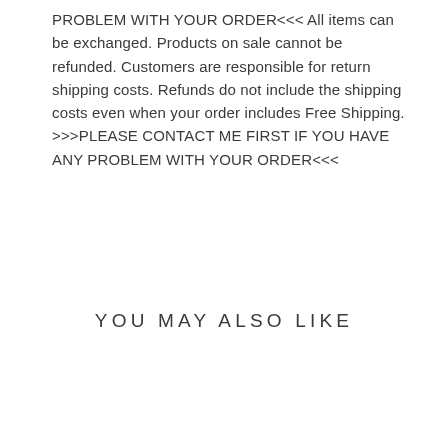PROBLEM WITH YOUR ORDER<<< All items can be exchanged. Products on sale cannot be refunded. Customers are responsible for return shipping costs. Refunds do not include the shipping costs even when your order includes Free Shipping. >>>PLEASE CONTACT ME FIRST IF YOU HAVE ANY PROBLEM WITH YOUR ORDER<<<
YOU MAY ALSO LIKE